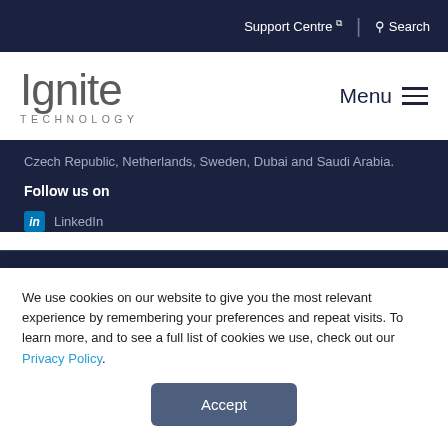Support Centre | Search
Ignite TECHNOLOGY
Czech Republic, Netherlands, Sweden, Dubai and Saudi Arabia.
Follow us on
in LinkedIn
Solutions
Partners
Resources
We use cookies on our website to give you the most relevant experience by remembering your preferences and repeat visits. To learn more, and to see a full list of cookies we use, check out our Privacy Policy.
Accept